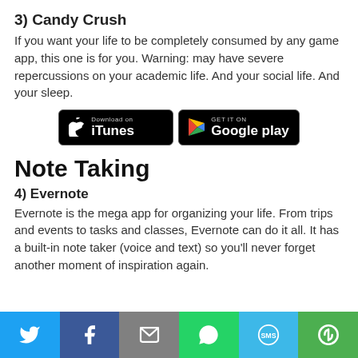3) Candy Crush
If you want your life to be completely consumed by any game app, this one is for you. Warning: may have severe repercussions on your academic life. And your social life. And your sleep.
[Figure (other): App store download buttons: Download on iTunes (Apple App Store) and GET IT ON Google play]
Note Taking
4) Evernote
Evernote is the mega app for organizing your life. From trips and events to tasks and classes, Evernote can do it all. It has a built-in note taker (voice and text) so you'll never forget another moment of inspiration again.
[Figure (infographic): Social sharing bar with Twitter, Facebook, Email, WhatsApp, SMS, and More buttons]